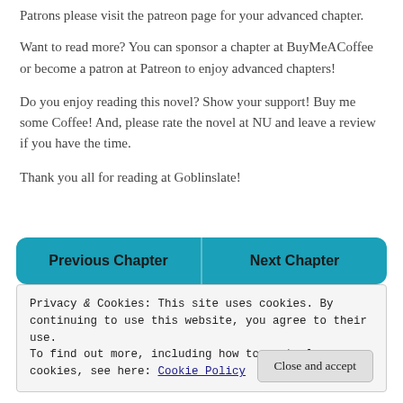Patrons please visit the patreon page for your advanced chapter.
Want to read more? You can sponsor a chapter at BuyMeACoffee or become a patron at Patreon to enjoy advanced chapters!
Do you enjoy reading this novel? Show your support! Buy me some Coffee! And, please rate the novel at NU and leave a review if you have the time.
Thank you all for reading at Goblinslate!
[Figure (other): Two teal navigation buttons side by side: 'Previous Chapter' on the left and 'Next Chapter' on the right]
Privacy & Cookies: This site uses cookies. By continuing to use this website, you agree to their use.
To find out more, including how to control cookies, see here: Cookie Policy
Close and accept